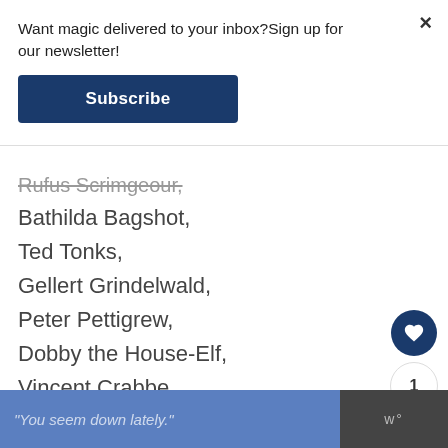Want magic delivered to your inbox?Sign up for our newsletter!
[Figure (other): Subscribe button - dark navy blue rectangle with white bold text 'Subscribe']
Rufus Scrimgeour,
Bathilda Bagshot,
Ted Tonks,
Gellert Grindelwald,
Peter Pettigrew,
Dobby the House-Elf,
Vincent Crabbe,
Fred Weasley,
Remus J. Lupin,
Nymphadora Tonks,
[Figure (screenshot): Bottom banner with blue section containing italic quote text 'You seem down lately.' and a logo area with 'w°' text]